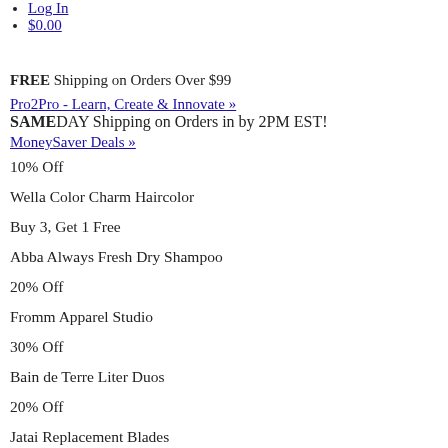Log In
$0.00
FREE Shipping on Orders Over $99
Pro2Pro - Learn, Create & Innovate »
SAMEDAY Shipping on Orders in by 2PM EST!
MoneySaver Deals »
10% Off
Wella Color Charm Haircolor
Buy 3, Get 1 Free
Abba Always Fresh Dry Shampoo
20% Off
Fromm Apparel Studio
30% Off
Bain de Terre Liter Duos
20% Off
Jatai Replacement Blades